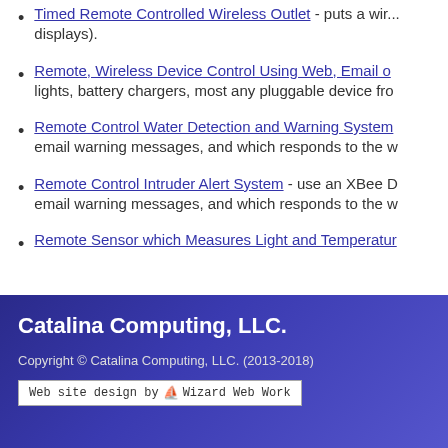Timed Remote Controlled Wireless Outlet - puts a wir... displays).
Remote, Wireless Device Control Using Web, Email o... lights, battery chargers, most any pluggable device fro...
Remote Control Water Detection and Warning System... email warning messages, and which responds to the w...
Remote Control Intruder Alert System - use an XBee D... email warning messages, and which responds to the w...
Remote Sensor which Measures Light and Temperatur...
Catalina Computing, LLC.
Copyright © Catalina Computing, LLC. (2013-2018)
Web site design by Wizard Web Work